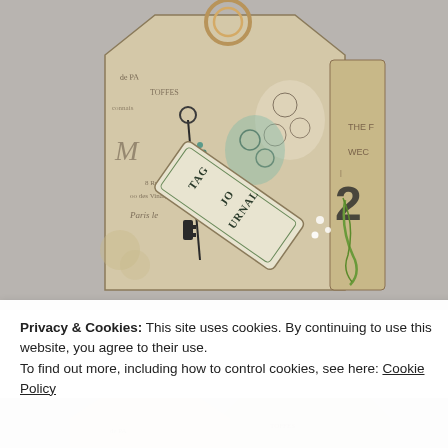[Figure (photo): A handmade tag journal with vintage French ephemera, floral stamps, a key charm, green thread, and a label reading 'TAG JOURNAL', hung on a ring binder, set against a light gray background.]
Privacy & Cookies: This site uses cookies. By continuing to use this website, you agree to their use.
To find out more, including how to control cookies, see here: Cookie Policy
Close and accept